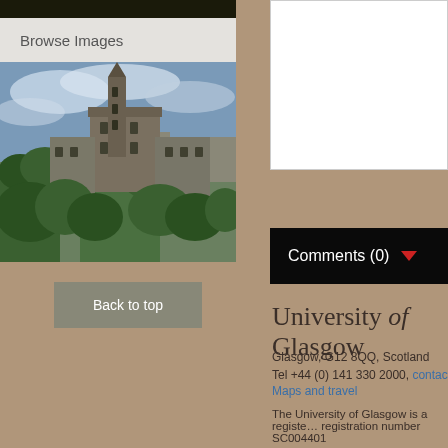Browse Images
[Figure (photo): Aerial/elevated view of University of Glasgow campus buildings including the Gothic tower and surrounding trees and cityscape]
Comments (0)
Back to top
University of Glasgow
Glasgow, G12 8QQ, Scotland
Tel +44 (0) 141 330 2000, contact us
Maps and travel
The University of Glasgow is a registered Scottish charity: registration number SC004401
Contact